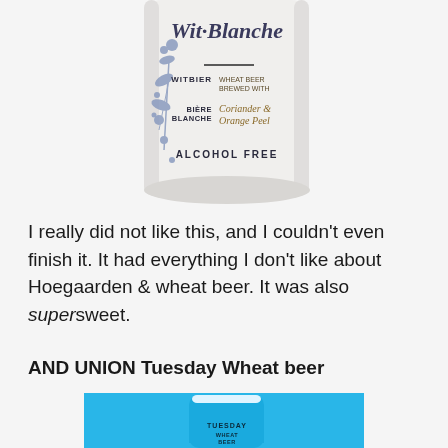[Figure (photo): Top portion of a white beer can labeled 'Wit Blanche' with blue floral illustration, showing text: WITBIER, WHEAT BEER BREWED WITH, BIÈRE BLANCHE, Coriander & Orange Peel, ALCOHOL FREE]
I really did not like this, and I couldn't even finish it. It had everything I don't like about Hoegaarden & wheat beer. It was also super sweet.
AND UNION Tuesday Wheat beer
[Figure (photo): Blue can of AND UNION Tuesday Wheat Beer on a cyan/blue background, showing partial can with text TUESDAY, WHEAT BEER]